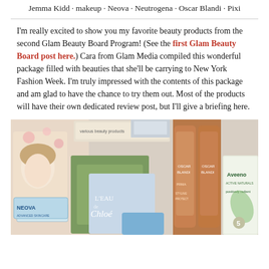Jemma Kidd · makeup · Neova · Neutrogena · Oscar Blandi · Pixi
I'm really excited to show you my favorite beauty products from the second Glam Beauty Board Program! (See the first Glam Beauty Board post here.) Cara from Glam Media compiled this wonderful package filled with beauties that she'll be carrying to New York Fashion Week. I'm truly impressed with the contents of this package and am glad to have the chance to try them out. Most of the products will have their own dedicated review post, but I'll give a briefing here.
[Figure (photo): A collection of beauty products including Neova, L'Eau de Chloé, Oscar Blandi, and Aveeno items arranged together in a group photo.]